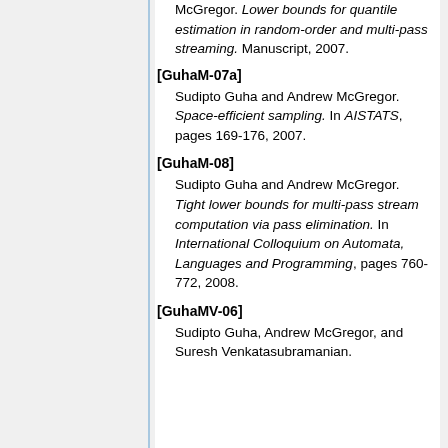McGregor. Lower bounds for quantile estimation in random-order and multi-pass streaming. Manuscript, 2007.
[GuhaM-07a] Sudipto Guha and Andrew McGregor. Space-efficient sampling. In AISTATS, pages 169-176, 2007.
[GuhaM-08] Sudipto Guha and Andrew McGregor. Tight lower bounds for multi-pass stream computation via pass elimination. In International Colloquium on Automata, Languages and Programming, pages 760-772, 2008.
[GuhaMV-06] Sudipto Guha, Andrew McGregor, and Suresh Venkatasubramanian.